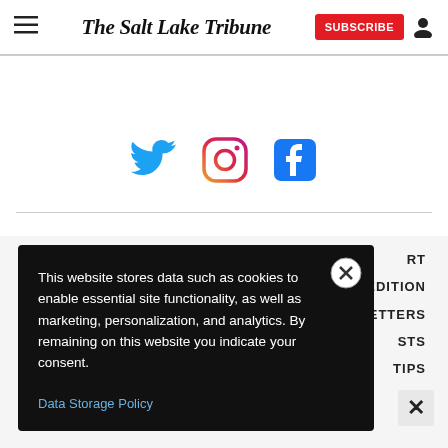The Salt Lake Tribune | SUBSCRIBE
[Figure (illustration): Social media icons: Twitter (bird, blue), Instagram (camera, pink/red), Facebook (f, blue)]
RT
T EDITION
LETTERS
STS
TIPS
This website stores data such as cookies to enable essential site functionality, as well as marketing, personalization, and analytics. By remaining on this website you indicate your consent.
Data Storage Policy